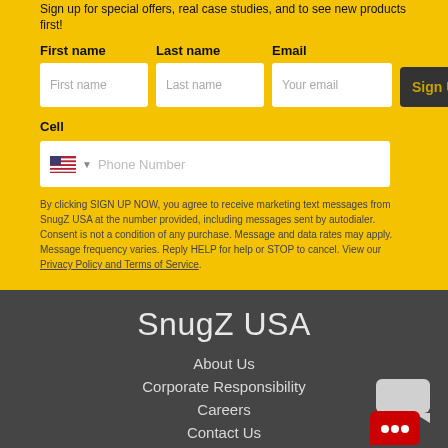Sign up for special offers, real case studies, and to see new products first!
First name
Last name
Email
Cell
By clicking SIGN UP NOW, you agree to receive marketing text messages from SnugZ USA at the number provided, including messages sent by autodialer. Consent is not a condition of any purchase. Message and data rates may apply. Message frequency varies. Reply HELP for help or STOP to cancel. View our Privacy Policy and Terms of Service.
SnugZ USA
About Us
Corporate Responsibility
Careers
Contact Us